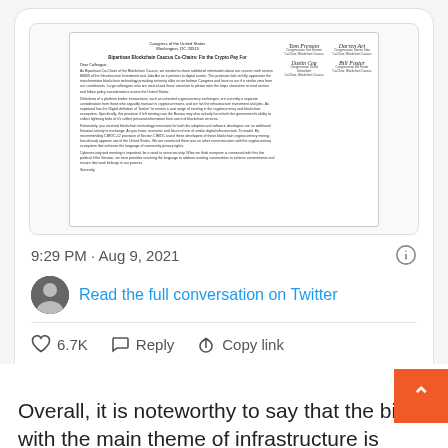[Figure (screenshot): Screenshot of a tweet showing a letter from the Bipartisan Blockchain Caucus Co-Chairs to the Crypto Pay For signed by four representatives, timestamped 9:29 PM · Aug 9, 2021, with options to read full conversation on Twitter, 6.7K likes, Reply, Copy link, and Read 419 replies.]
Overall, it is noteworthy to say that the bill with the main theme of infrastructure is ultimately so influ in the crypto industry. Decisions are made at a rapid